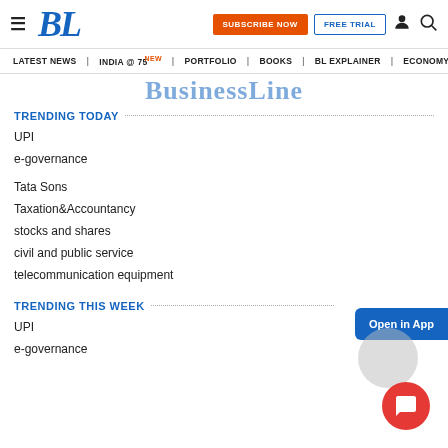BL | SUBSCRIBE NOW | FREE TRIAL
LATEST NEWS | INDIA @ 75 | PORTFOLIO | BOOKS | BL EXPLAINER | ECONOMY | AGR
BusinessLine
TRENDING TODAY
UPI
e-governance
Tata Sons
Taxation&amp;Accountancy
stocks and shares
civil and public service
telecommunication equipment
TRENDING THIS WEEK
UPI
e-governance